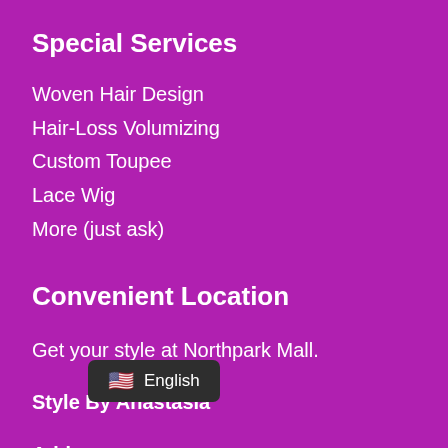Special Services
Woven Hair Design
Hair-Loss Volumizing
Custom Toupee
Lace Wig
More (just ask)
Convenient Location
Get your style at Northpark Mall.
Style By Anastasia
Address :
121 ... nue,
Okl ... 73156
[Figure (screenshot): Language selector overlay showing US flag and 'English' text on a dark rounded rectangle background]